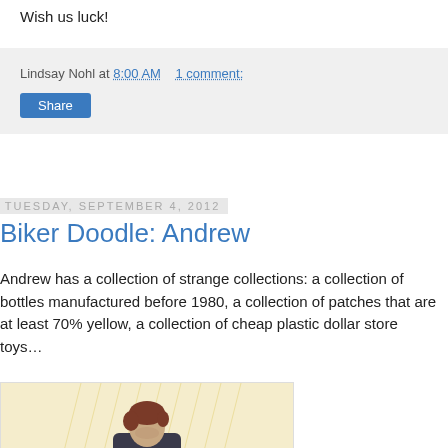Wish us luck!
Lindsay Nohl at 8:00 AM   1 comment:
Share
Tuesday, September 4, 2012
Biker Doodle: Andrew
Andrew has a collection of strange collections: a collection of bottles manufactured before 1980, a collection of patches that are at least 70% yellow, a collection of cheap plastic dollar store toys…
[Figure (illustration): Illustrated doodle of a person (Andrew) wearing a dark hoodie with reddish-brown hair, in front of a warm yellow textured background]